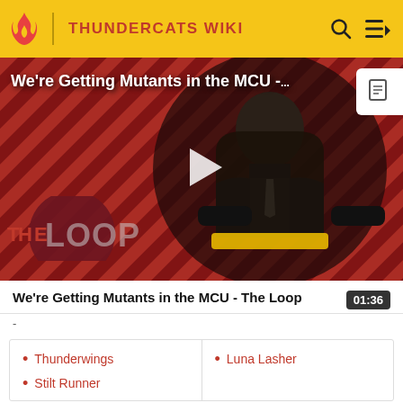THUNDERCATS WIKI
[Figure (screenshot): Video thumbnail showing a bald man in a suit seated in a chair, with diagonal red/pink striped background and The Loop logo overlay. Play button in center.]
We're Getting Mutants in the MCU - The Loop
01:36
-
| Thunderwings
Stilt Runner | Luna Lasher |